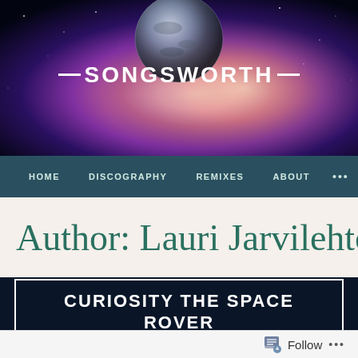[Figure (illustration): Songsworth website header with space/galaxy background featuring a planet/moon, nebula colors of purple, pink, orange, and dark blue]
—SONGSWORTH—
HOME   DISCOGRAPHY   REMIXES   ABOUT   •••
Author: Lauri Jarvilehto
CURIOSITY THE SPACE ROVER
Follow •••